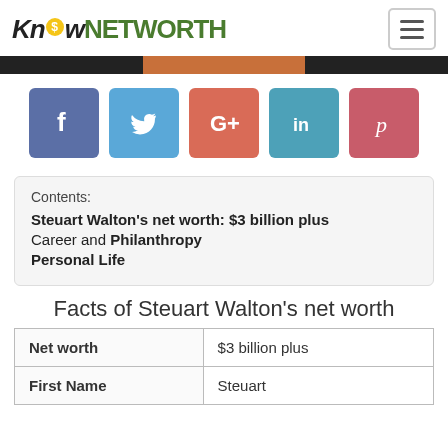Know NETWORTH
[Figure (infographic): Social sharing buttons: Facebook, Twitter, Google+, LinkedIn, Pinterest]
Contents:
Steuart Walton's net worth: $3 billion plus
Career and Philanthropy
Personal Life
Facts of Steuart Walton's net worth
| Net worth | $3 billion plus |
| --- | --- |
| First Name | Steuart |